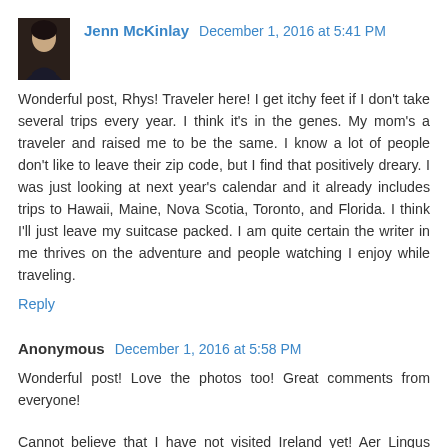[Figure (photo): Small avatar photo of Jenn McKinlay, a woman with dark hair]
Jenn McKinlay  December 1, 2016 at 5:41 PM
Wonderful post, Rhys! Traveler here! I get itchy feet if I don't take several trips every year. I think it's in the genes. My mom's a traveler and raised me to be the same. I know a lot of people don't like to leave their zip code, but I find that positively dreary. I was just looking at next year's calendar and it already includes trips to Hawaii, Maine, Nova Scotia, Toronto, and Florida. I think I'll just leave my suitcase packed. I am quite certain the writer in me thrives on the adventure and people watching I enjoy while traveling.
Reply
Anonymous  December 1, 2016 at 5:58 PM
Wonderful post! Love the photos too! Great comments from everyone!
Cannot believe that I have not visited Ireland yet! Aer Lingus airlines, one in a while, offers a special deal from SFO to Ireland. And would love to visit. Generally from